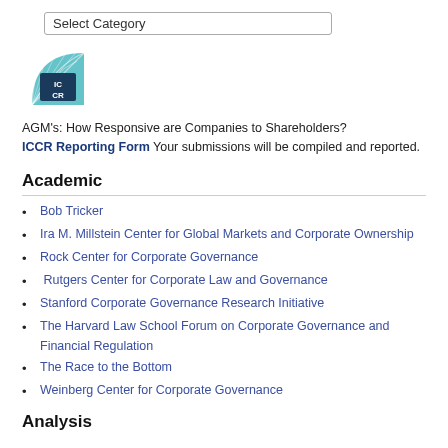Select Category
[Figure (logo): ICCR logo - a fan/globe shape in teal/blue with letters ICCR]
AGM's: How Responsive are Companies to Shareholders?
ICCR Reporting Form Your submissions will be compiled and reported.
Academic
Bob Tricker
Ira M. Millstein Center for Global Markets and Corporate Ownership
Rock Center for Corporate Governance
Rutgers Center for Corporate Law and Governance
Stanford Corporate Governance Research Initiative
The Harvard Law School Forum on Corporate Governance and Financial Regulation
The Race to the Bottom
Weinberg Center for Corporate Governance
Analysis